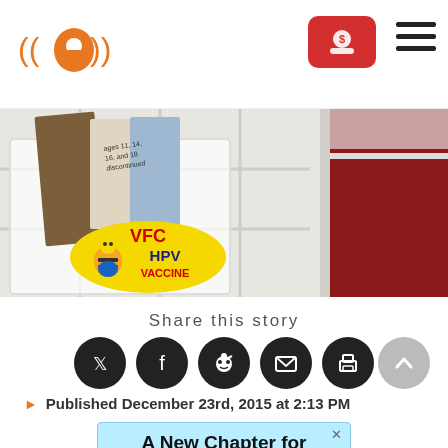KCUR logo with navigation icons
[Figure (photo): Close-up photo of a white wire basket holding medical pamphlets and a yellow VFC HPV Vaccine sticker with a bee mascot character]
Share this story
[Figure (infographic): Social sharing icons: Twitter, Facebook, Reddit, Email, Print, and scroll-to-top button]
Published December 23rd, 2015 at 2:13 PM
[Figure (infographic): Advertisement banner: A New Chapter for Kansas City PBS]